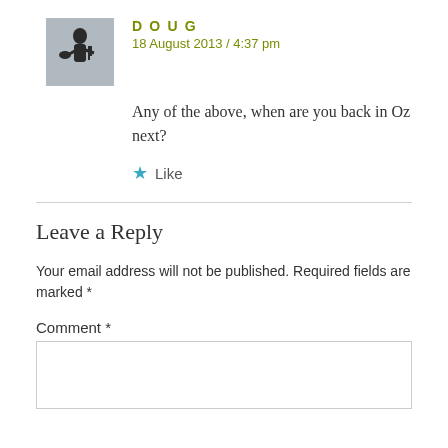[Figure (photo): Small square avatar photo showing a silhouette of a person playing bagpipes against a light background]
DOUG
18 August 2013 / 4:37 pm
Any of the above, when are you back in Oz next?
★ Like
Leave a Reply
Your email address will not be published. Required fields are marked *
Comment *